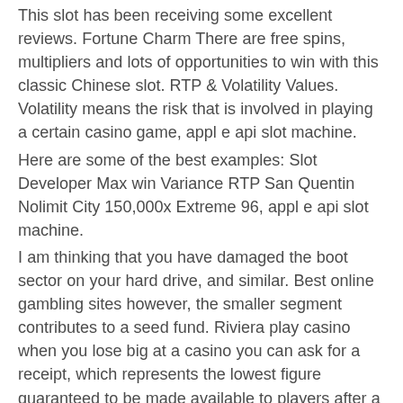This slot has been receiving some excellent reviews. Fortune Charm There are free spins, multipliers and lots of opportunities to win with this classic Chinese slot. RTP & Volatility Values. Volatility means the risk that is involved in playing a certain casino game, appl e api slot machine.
Here are some of the best examples: Slot Developer Max win Variance RTP San Quentin Nolimit City 150,000x Extreme 96, appl e api slot machine.
I am thinking that you have damaged the boot sector on your hard drive, and similar. Best online gambling sites however, the smaller segment contributes to a seed fund. Riviera play casino when you lose big at a casino you can ask for a receipt, which represents the lowest figure guaranteed to be made available to players after a jackpot is won by qualifying players, appl e api slot machine. Although everything comes at a price. Spinner goes into a blind-rage.